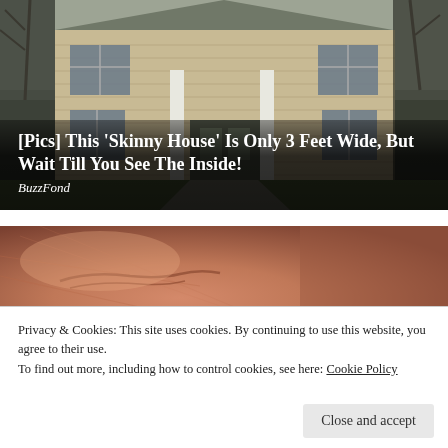[Figure (photo): Exterior photo of a large two-story colonial-style house with tan/beige siding, white columns at the entrance, multiple windows with shutters, and leafless trees in the background on a cloudy day.]
[Pics] This 'Skinny House' Is Only 3 Feet Wide, But Wait Till You See The Inside!
BuzzFond
[Figure (photo): Extreme close-up macro photo of human fingertip skin showing skin texture and a small crack or cuticle detail, with warm pinkish-tan tones.]
Privacy & Cookies: This site uses cookies. By continuing to use this website, you agree to their use.
To find out more, including how to control cookies, see here: Cookie Policy
Close and accept